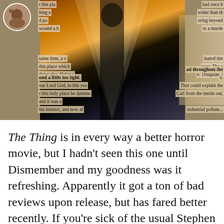[Figure (photo): A composite image showing a person standing in the center with book text pages overlaid on left and right sides, and a fiery/warm-lit background. A small circular avatar photo is visible in the top-left corner.]
The Thing is in every way a better horror movie, but I hadn't seen this one until Dismember and my goodness was it refreshing. Apparently it got a ton of bad reviews upon release, but has fared better recently. If you're sick of the usual Stephen